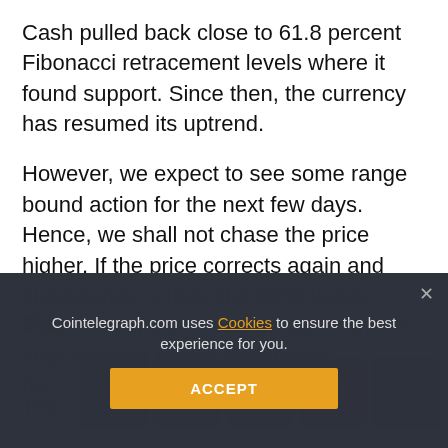Cash pulled back close to 61.8 percent Fibonacci retracement levels where it found support. Since then, the currency has resumed its uptrend.
However, we expect to see some range bound action for the next few days. Hence, we shall not chase the price higher. If the price corrects again and successfully retests the $550 levels, traders can initiate long positions with a stop loss just below $550 levels.
The first target on the upside is $765 and it is 50 per... (truncated by social share bar) ...h of $972 to the lows of $558.6
[Figure (infographic): Social share buttons bar: Facebook (blue), Twitter (light blue), Telegram (blue), Reddit (orange), LinkedIn (dark blue), WhatsApp (green), Copy (grey), Scroll-up (yellow/amber)]
At current levels, the risk-reward is not in favor of the bulls, therefore we... (truncated by cookie banner) ...ps when the risk is lower.
Cointelegraph.com uses Cookies to ensure the best experience for you.
ACCEPT